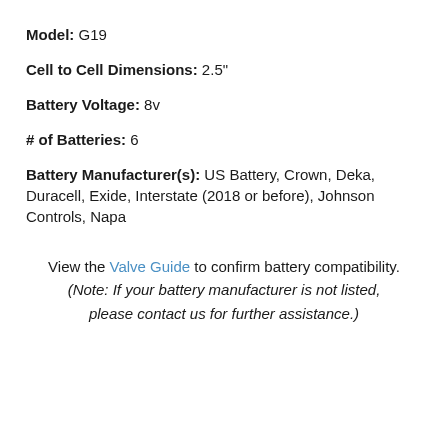Model: G19
Cell to Cell Dimensions: 2.5"
Battery Voltage: 8v
# of Batteries: 6
Battery Manufacturer(s): US Battery, Crown, Deka, Duracell, Exide, Interstate (2018 or before), Johnson Controls, Napa
View the Valve Guide to confirm battery compatibility. (Note: If your battery manufacturer is not listed, please contact us for further assistance.)